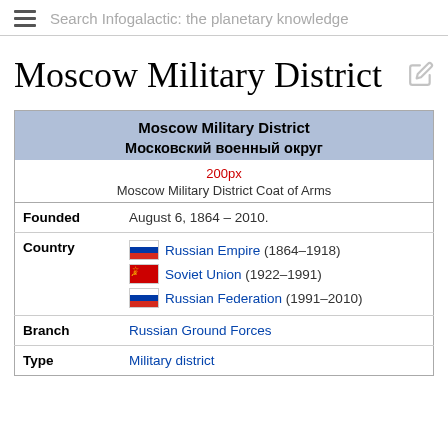Search Infogalactic: the planetary knowledge
Moscow Military District
| Moscow Military District / Московский военный округ |
| --- |
| 200px | Moscow Military District Coat of Arms |
| Founded | August 6, 1864 – 2010. |
| Country | Russian Empire (1864–1918)
Soviet Union (1922–1991)
Russian Federation (1991–2010) |
| Branch | Russian Ground Forces |
| Type | Military district |